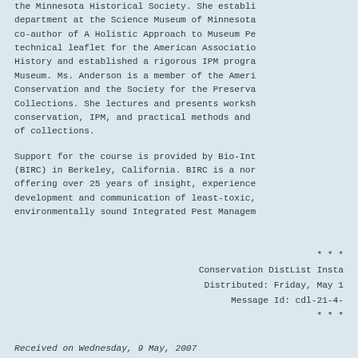the Minnesota Historical Society. She establi department at the Science Museum of Minnesota co-author of A Holistic Approach to Museum Pe technical leaflet for the American Associatio History and established a rigorous IPM progra Museum. Ms. Anderson is a member of the Ameri Conservation and the Society for the Preserva Collections. She lectures and presents worksh conservation, IPM, and practical methods and of collections.
Support for the course is provided by Bio-Int (BIRC) in Berkeley, California. BIRC is a nor offering over 25 years of insight, experience development and communication of least-toxic, environmentally sound Integrated Pest Managem
* * *
Conservation DistList Insta
Distributed: Friday, May 1
Message Id: cdl-21-4-
* * *
Received on Wednesday, 9 May, 2007